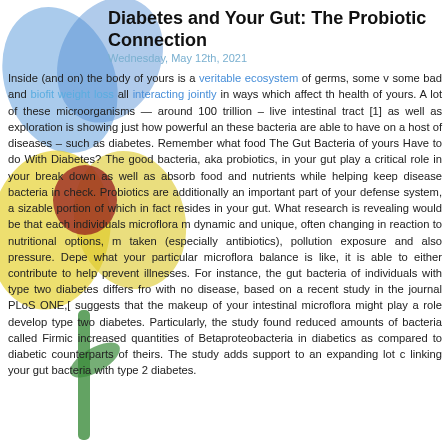[Figure (illustration): A colorful glass or crystal flower sculpture with blue, yellow, and red petals on a green stem, positioned on the left side of the page as a decorative element.]
Diabetes and Your Gut: The Probiotic Connection
Wednesday, May 12th, 2021
Inside (and on) the body of yours is a veritable ecosystem of germs, some bad and biofit weight loss all interacting jointly in ways which affect the health of yours. A lot of these microorganisms — around 100 trillion – live intestinal tract [1] as well as exploration is showing just how powerful an these bacteria are able to have on a host of diseases – such as diabetes. Remember what food The Gut Bacteria of yours Have to do With Diabetes? The good bacteria, aka probiotics, in your gut play a critical role in your break down as well as absorb food and nutrients while helping keep disease bacteria in check. Probiotics are additionally an important part of your defense system, a sizable portion of which in fact resides in your gut. What research is revealing would be that each individuals microflora m dynamic and unique, often changing in reaction to nutritional options, m taken (especially antibiotics), pollution exposure and also pressure. Depe what your particular microflora balance is like, it is able to either contribute to help prevent illnesses. For instance, the gut bacteria of individuals with type two diabetes differs fro with no disease, based on a recent study in the journal PLoS ONE,[ suggests that the makeup of your intestinal microflora might play a role develop type two diabetes. Particularly, the study found reduced amounts of bacteria called Firmic increased quantities of Betaproteobacteria in diabetics as compared to diabetic counterparts of theirs. The study adds support to an expanding lot linking your gut bacteria with type 2 diabetes.